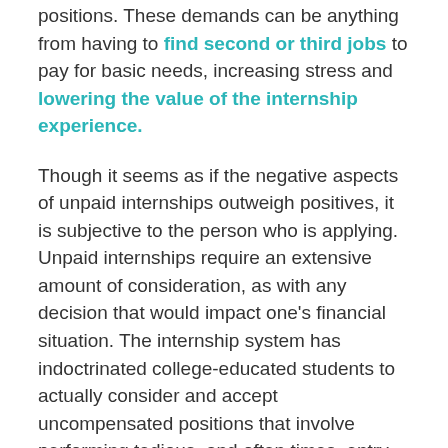positions. These demands can be anything from having to find second or third jobs to pay for basic needs, increasing stress and lowering the value of the internship experience.
Though it seems as if the negative aspects of unpaid internships outweigh positives, it is subjective to the person who is applying. Unpaid internships require an extensive amount of consideration, as with any decision that would impact one's financial situation. The internship system has indoctrinated college-educated students to actually consider and accept uncompensated positions that involve performing tedious, and often times, entry-level work.
The value that an internship can possess goes well beyond what a student can learn inside the classroom, but it does not always make up for the hole it burns in the